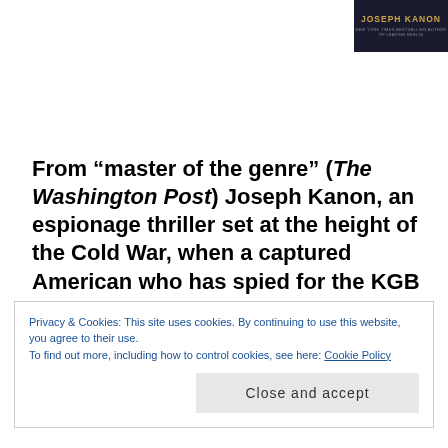[Figure (illustration): Book cover showing 'JOSEPH KANON' in gold letters on a dark background with subtitle text]
From “master of the genre” (The Washington Post) Joseph Kanon, an espionage thriller set at the height of the Cold War, when a captured American who has spied for the KGB is swapped by the British and returns to East Berlin
Privacy & Cookies: This site uses cookies. By continuing to use this website, you agree to their use.
To find out more, including how to control cookies, see here: Cookie Policy
Close and accept
exchanges, or at Checkpoint Charlie, where